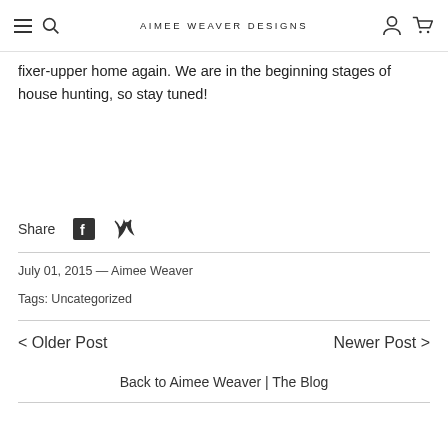AIMEE WEAVER DESIGNS
fixer-upper home again. We are in the beginning stages of house hunting, so stay tuned!
Share
July 01, 2015 — Aimee Weaver
Tags: Uncategorized
< Older Post   Newer Post >
Back to Aimee Weaver | The Blog